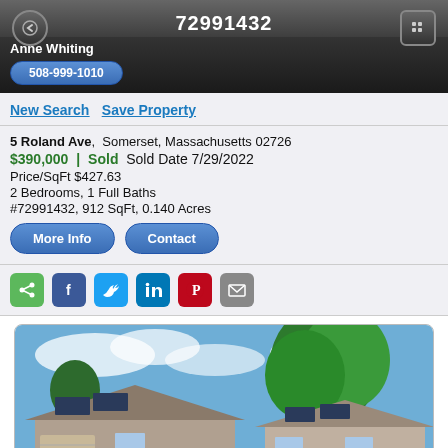72991432
Anne Whiting
508-999-1010
New Search  Save Property
5 Roland Ave,  Somerset, Massachusetts 02726
$390,000 | Sold  Sold Date 7/29/2022
Price/SqFt $427.63
2 Bedrooms, 1 Full Baths
#72991432, 912 SqFt, 0.140 Acres
[Figure (photo): Exterior photo of a residential property at 5 Roland Ave, Somerset MA, showing a ranch-style house with solar panels on the roof and a large green tree in the background, blue sky with clouds.]